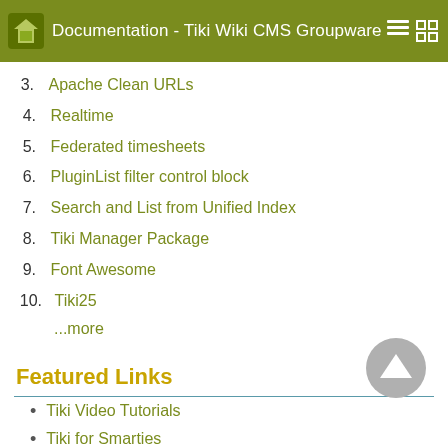Documentation - Tiki Wiki CMS Groupware
3. Apache Clean URLs
4. Realtime
5. Federated timesheets
6. PluginList filter control block
7. Search and List from Unified Index
8. Tiki Manager Package
9. Font Awesome
10. Tiki25
...more
Featured Links
Tiki Video Tutorials
Tiki for Smarties
Tiki Essentials